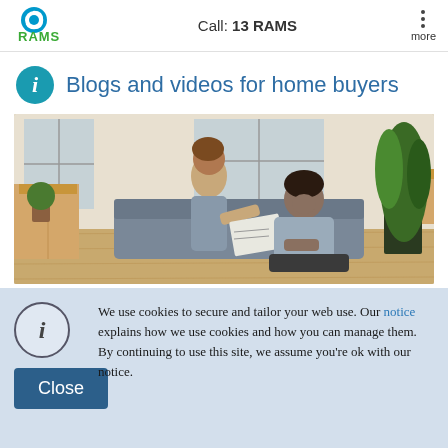Call: 13 RAMS
Blogs and videos for home buyers
[Figure (photo): A couple sitting on the floor of an apartment surrounded by moving boxes, reading a document together]
We use cookies to secure and tailor your web use. Our notice explains how we use cookies and how you can manage them. By continuing to use this site, we assume you're ok with our notice.